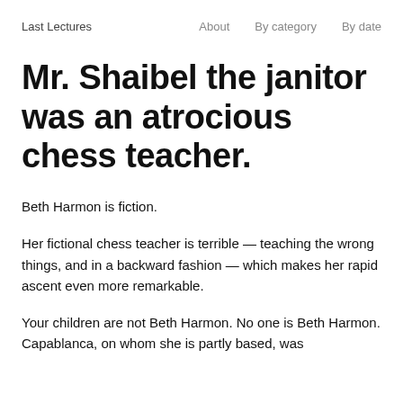Last Lectures   About   By category   By date
Mr. Shaibel the janitor was an atrocious chess teacher.
Beth Harmon is fiction.
Her fictional chess teacher is terrible — teaching the wrong things, and in a backward fashion — which makes her rapid ascent even more remarkable.
Your children are not Beth Harmon. No one is Beth Harmon. Capablanca, on whom she is partly based, was